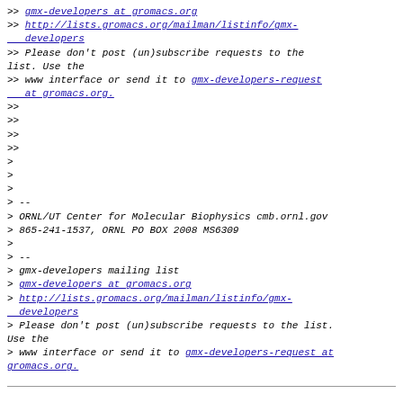>> gmx-developers at gromacs.org
>> http://lists.gromacs.org/mailman/listinfo/gmx-developers
>> Please don't post (un)subscribe requests to the list. Use the
>> www interface or send it to gmx-developers-request at gromacs.org.
>>
>>
>>
>>
>
>
>
> --
> ORNL/UT Center for Molecular Biophysics cmb.ornl.gov
> 865-241-1537, ORNL PO BOX 2008 MS6309
>
> --
> gmx-developers mailing list
> gmx-developers at gromacs.org
> http://lists.gromacs.org/mailman/listinfo/gmx-developers
> Please don't post (un)subscribe requests to the list. Use the
> www interface or send it to gmx-developers-request at gromacs.org.